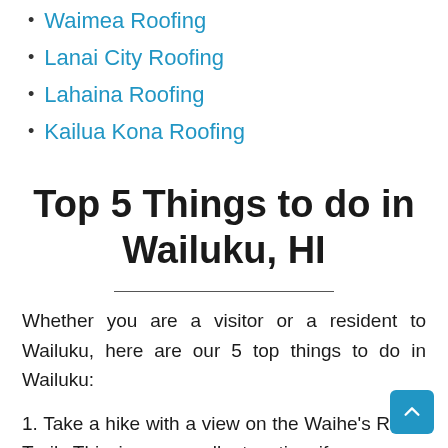Waimea Roofing
Lanai City Roofing
Lahaina Roofing
Kailua Kona Roofing
Top 5 Things to do in Wailuku, HI
Whether you are a visitor or a resident to Wailuku, here are our 5 top things to do in Wailuku:
1. Take a hike with a view on the Waihe's Ridge Trail. This is an excellent option if you are a seasoned hiker or want to challenge yourself on your vacation. The trail is steep and